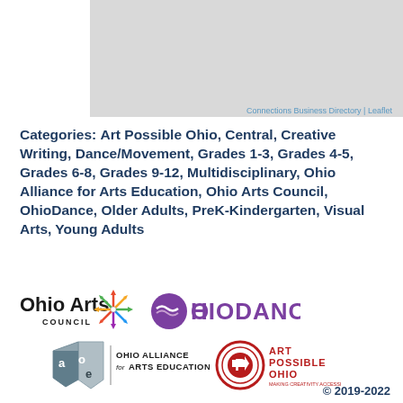[Figure (map): Gray map area with Connections Business Directory and Leaflet links]
Categories: Art Possible Ohio, Central, Creative Writing, Dance/Movement, Grades 1-3, Grades 4-5, Grades 6-8, Grades 9-12, Multidisciplinary, Ohio Alliance for Arts Education, Ohio Arts Council, OhioDance, Older Adults, PreK-Kindergarten, Visual Arts, Young Adults
[Figure (logo): Ohio Arts Council logo]
[Figure (logo): OhioDance logo]
[Figure (logo): Ohio Alliance for Arts Education logo]
[Figure (logo): Art Possible Ohio logo]
© 2019-2022